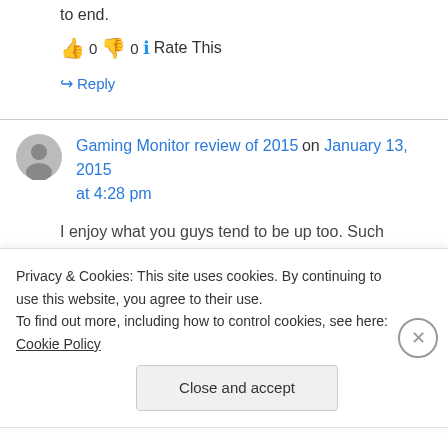to end.
👍 0 👎 0 ℹ Rate This
↪ Reply
Gaming Monitor review of 2015 on January 13, 2015 at 4:28 pm
I enjoy what you guys tend to be up too. Such
Privacy & Cookies: This site uses cookies. By continuing to use this website, you agree to their use.
To find out more, including how to control cookies, see here: Cookie Policy
Close and accept